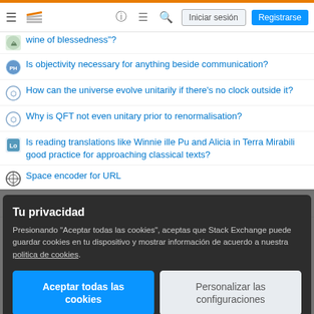Stack Exchange navigation bar with hamburger menu, logo, help, chat, search icons, Iniciar sesión and Registrarse buttons
wine of blessedness"?
Is objectivity necessary for anything beside communication?
How can the universe evolve unitarily if there's no clock outside it?
Why is QFT not even unitary prior to renormalisation?
Is reading translations like Winnie ille Pu and Alicia in Terra Mirabili good practice for approaching classical texts?
Space encoder for URL
Multiple Plots over non-consecutive integer parameter values
Tu privacidad
Presionando "Aceptar todas las cookies", aceptas que Stack Exchange puede guardar cookies en tu dispositivo y mostrar información de acuerdo a nuestra politica de cookies.
Aceptar todas las cookies
Personalizar las configuraciones
Disable Apple ID signup popup in Macos